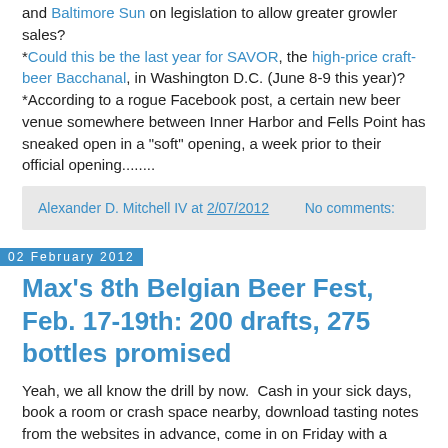and Baltimore Sun on legislation to allow greater growler sales? *Could this be the last year for SAVOR, the high-price craft-beer Bacchanal, in Washington D.C. (June 8-9 this year)? *According to a rogue Facebook post, a certain new beer venue somewhere between Inner Harbor and Fells Point has sneaked open in a "soft" opening, a week prior to their official opening........
Alexander D. Mitchell IV at 2/07/2012    No comments:
02 February 2012
Max's 8th Belgian Beer Fest, Feb. 17-19th: 200 drafts, 275 bottles promised
Yeah, we all know the drill by now.  Cash in your sick days, book a room or crash space nearby, download tasting notes from the websites in advance, come in on Friday with a multi-page checklist.....